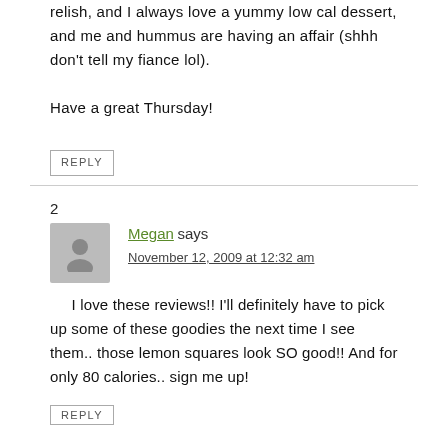relish, and I always love a yummy low cal dessert, and me and hummus are having an affair (shhh don't tell my fiance lol).
Have a great Thursday!
REPLY
2
Megan says
November 12, 2009 at 12:32 am
I love these reviews!! I'll definitely have to pick up some of these goodies the next time I see them.. those lemon squares look SO good!! And for only 80 calories.. sign me up!
REPLY